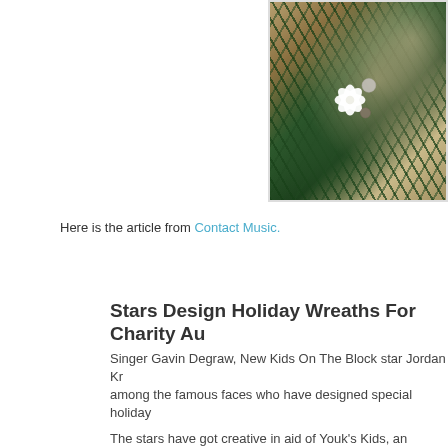[Figure (photo): A close-up photo of a holiday/Christmas wreath with pine branches, white poinsettia flower, and silver/white ornament balls on a warm golden-brown background.]
Here is the article from Contact Music.
Stars Design Holiday Wreaths For Charity Au
Singer Gavin Degraw, New Kids On The Block star Jordan Kr among the famous faces who have designed special holiday
The stars have got creative in aid of Youk's Kids, an organisa Bundchen's brother-in-law.
They have all made festive wreaths which will be auctioned o
The auction is part of an annual fundraising gala, called Not Y Boston, Massachusetts on 6 December (12).